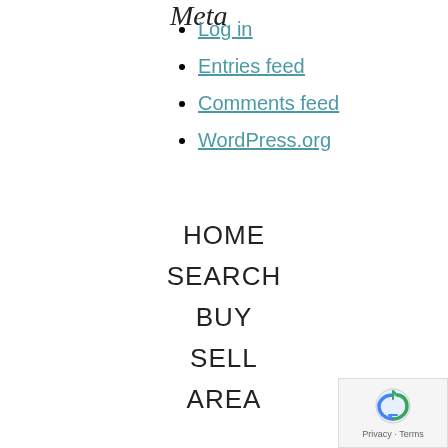Meta
Log in
Entries feed
Comments feed
WordPress.org
HOME
SEARCH
BUY
SELL
AREA